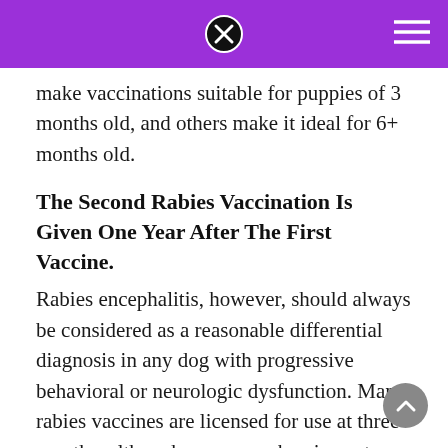make vaccinations suitable for puppies of 3 months old, and others make it ideal for 6+ months old.
The Second Rabies Vaccination Is Given One Year After The First Vaccine.
Rabies encephalitis, however, should always be considered as a reasonable differential diagnosis in any dog with progressive behavioral or neurologic dysfunction. Many rabies vaccines are licensed for use at three months, although some may be given at younger ages. At 9 weeks, 88% of the puppies